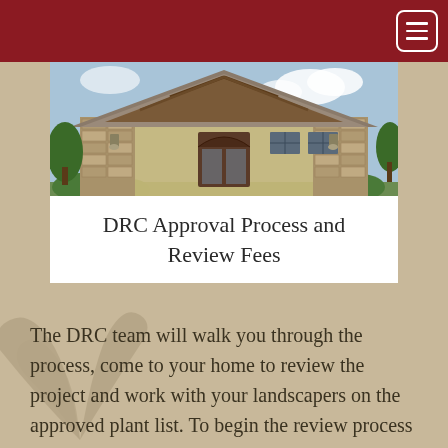[Figure (photo): Exterior photo of a building entrance with stone columns, wooden beam canopy, arched glass door, and craftsman-style architecture under a partly cloudy sky.]
DRC Approval Process and Review Fees
The DRC team will walk you through the process, come to your home to review the project and work with your landscapers on the approved plant list. To begin the review process complete the appropriate